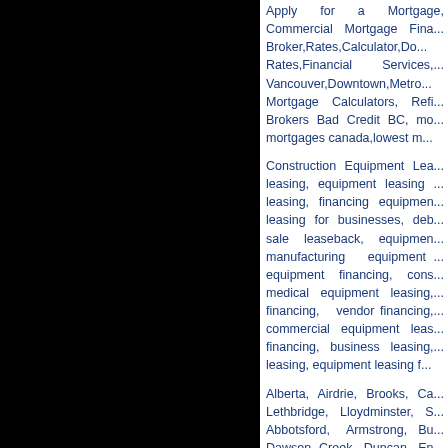[Figure (photo): Black rectangular panel on the left side of the page]
Apply for a Mortgage, Commercial Mortgage Fina... Broker,Rates,Calculator,Do... Rates,Financial Services,... Vancouver,Downtown,Metro... Mortgage Calculators, Refi... Brokers Bad Credit BC, mo... mortgages canada,lowest m...
Construction Equipment Lea... leasing, equipment leasing ... leasing, financing equipmen... leasing for businesses, deb... sale leaseback, equipmen... manufacturing equipment ... equipment financing, cons... medical equipment leasing,... financing, vendor financing... commercial equipment leas... financing, business leasing,... leasing, equipment leasing f...
Alberta, Airdrie, Brooks, Ca... Lethbridge, Lloydminster, S... Abbotsford, Armstrong, Bu... Dawson Creek, Duncan, En... Langford, Langley, Merritt, ... Pitt Meadows, Port Albern,...